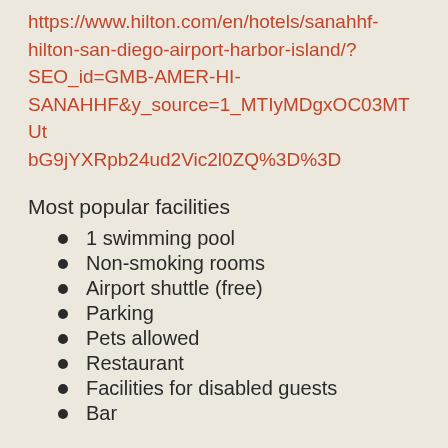https://www.hilton.com/en/hotels/sanahhf-hilton-san-diego-airport-harbor-island/?SEO_id=GMB-AMER-HI-SANAHHF&y_source=1_MTIyMDgxOC03MTUtbG9jYXRpb24ud2Vic2l0ZQ%3D%3D
Most popular facilities
1 swimming pool
Non-smoking rooms
Airport shuttle (free)
Parking
Pets allowed
Restaurant
Facilities for disabled guests
Bar